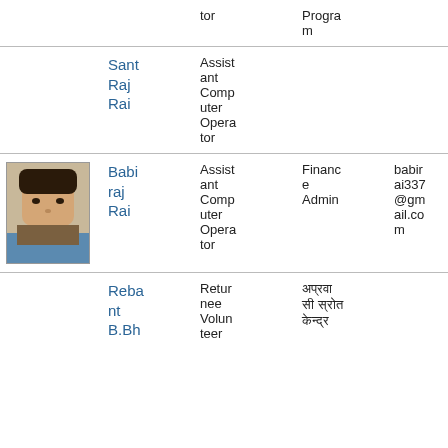| Photo | Name | Role | Department | Email | Phone |
| --- | --- | --- | --- | --- | --- |
|  | Sant Raj Rai | Assistant Computer Operator |  |  |  |
| [photo] | Babiraj Rai | Assistant Computer Operator | Finance Admin | babirai337@gmail.com | 9842862894 |
|  | Rebant B.Bh | Returnee Volunteer | अप्रवासी स्रोत केन्द्र |  |  |